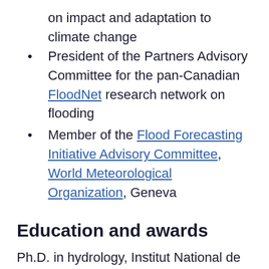on impact and adaptation to climate change
President of the Partners Advisory Committee for the pan-Canadian FloodNet research network on flooding
Member of the Flood Forecasting Initiative Advisory Committee, World Meteorological Organization, Geneva
Education and awards
Ph.D. in hydrology, Institut National de la Recherche Scientifique, Quebec City (1997)
Geoff Howell Citation of Excellence for